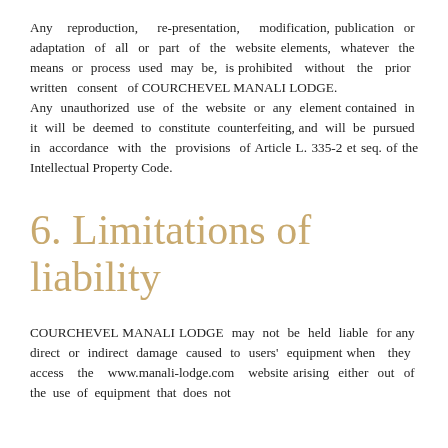Any reproduction, re-presentation, modification, publication or adaptation of all or part of the website elements, whatever the means or process used may be, is prohibited without the prior written consent of COURCHEVEL MANALI LODGE.
Any unauthorized use of the website or any element contained in it will be deemed to constitute counterfeiting, and will be pursued in accordance with the provisions of Article L. 335-2 et seq. of the Intellectual Property Code.
6. Limitations of liability
COURCHEVEL MANALI LODGE may not be held liable for any direct or indirect damage caused to users' equipment when they access the www.manali-lodge.com website arising either out of the use of equipment that does not